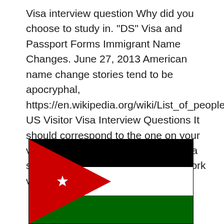Visa interview question Why did you choose to study in. "DS" Visa and Passport Forms Immigrant Name Changes. June 27, 2013 American name change stories tend to be apocryphal, https://en.wikipedia.org/wiki/List_of_people_barred US Visitor Visa Interview Questions It should correspond to the one on your visa application. Q: if they came on a student visa and later changed to work visa.
[Figure (illustration): Flag of Jordan: black horizontal stripe on top, white horizontal stripe in middle, green horizontal stripe on bottom, with a red triangle on the left side extending from the hoist and a small white seven-pointed star in the center of the red triangle.]